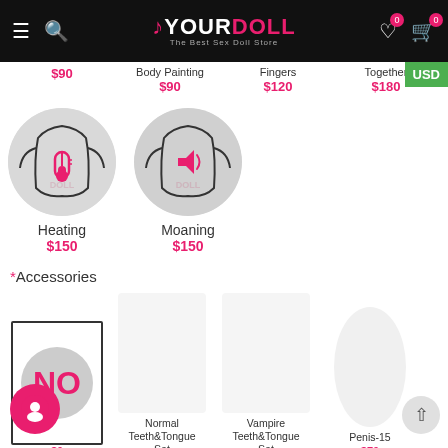YourDoll – The Best Sex Doll Store
$90  Body Painting $90  Fingers $120  Together $180
[Figure (illustration): Circle illustration of torso with heating icon (thermometer) in pink]
Heating
$150
[Figure (illustration): Circle illustration of torso with moaning/speaker icon in pink]
Moaning
$150
*Accessories
[Figure (illustration): Box with NO text and circle, representing no accessory option, $0]
$0
Normal Teeth&Tongue Set
Vampire Teeth&Tongue Set
Penis-15
$70